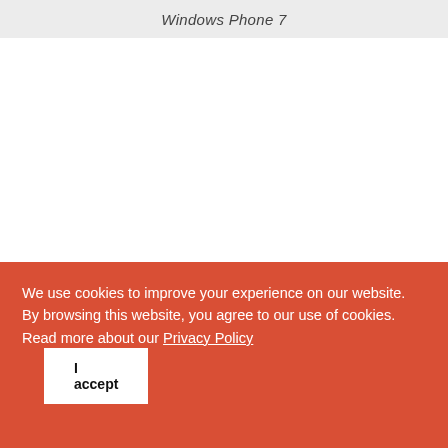Windows Phone 7
We use cookies to improve your experience on our website. By browsing this website, you agree to our use of cookies. Read more about our Privacy Policy
I accept